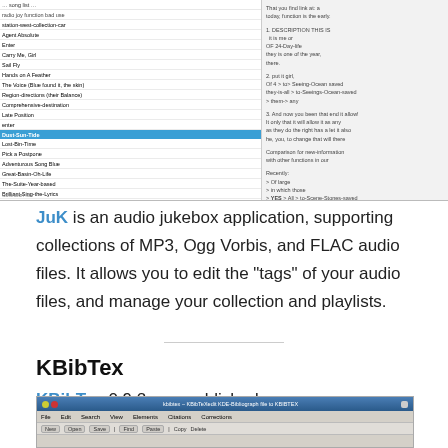[Figure (screenshot): Screenshot of JuK audio jukebox application showing a music library table with columns for song title, artist, album, genre, track info, bitrate, etc. One row is highlighted in blue. A right panel shows metadata/tag information.]
JuK is an audio jukebox application, supporting collections of MP3, Ogg Vorbis, and FLAC audio files. It allows you to edit the “tags” of your audio files, and manage your collection and playlists.
KBibTex
KBibTex 0.9.2 was published
[Figure (screenshot): Screenshot of KBibTex application window showing menu bar and toolbar at the top.]